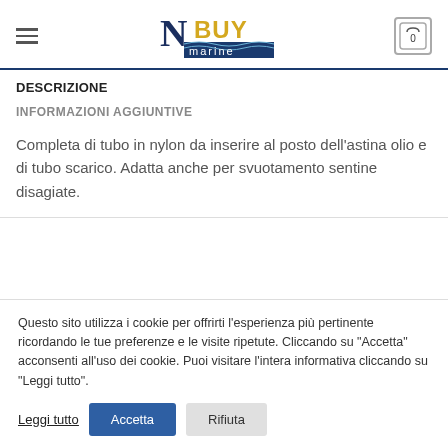NBuy Marine logo, hamburger menu, cart icon with 0
DESCRIZIONE
INFORMAZIONI AGGIUNTIVE
Completa di tubo in nylon da inserire al posto dell'astina olio e di tubo scarico. Adatta anche per svuotamento sentine disagiate.
Questo sito utilizza i cookie per offrirti l'esperienza più pertinente ricordando le tue preferenze e le visite ripetute. Cliccando su "Accetta" acconsenti all'uso dei cookie. Puoi visitare l'intera informativa cliccando su "Leggi tutto".
Leggi tutto  Accetta  Rifiuta